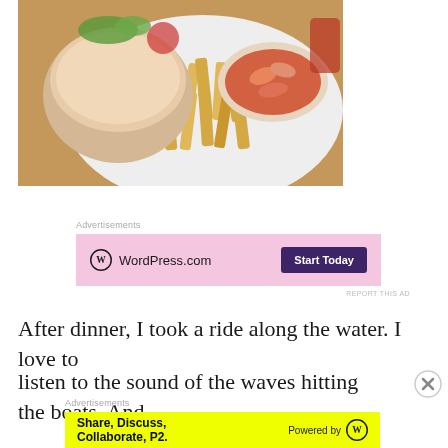[Figure (photo): Photo of a plate of food: a sandwich/roll, french fries, and a small bowl of shrimp in tomato sauce, on a white plate on a wooden table]
Advertisements
[Figure (screenshot): WordPress.com advertisement with pink background. Left side shows WordPress logo circle and 'WordPress.com' text. Right side shows purple 'Start Today' button.]
REPORT THIS AD
After dinner, I took a ride along the water. I love to
listen to the sound of the waves hitting the boats. And
Advertisements
[Figure (screenshot): Yellow advertisement banner: 'Share, Discuss, Collaborate, P2.' on left side, 'Powered by WordPress logo' on right side.]